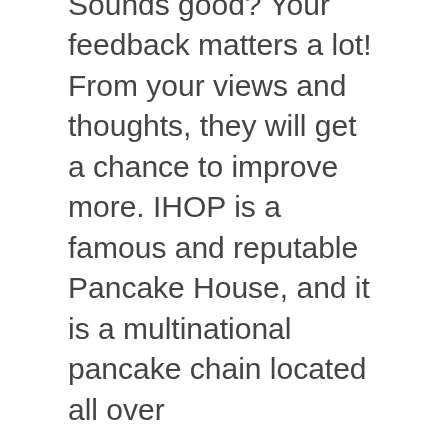Sounds good? Your feedback matters a lot! From your views and thoughts, they will get a chance to improve more. IHOP is a famous and reputable Pancake House, and it is a multinational pancake chain located all over